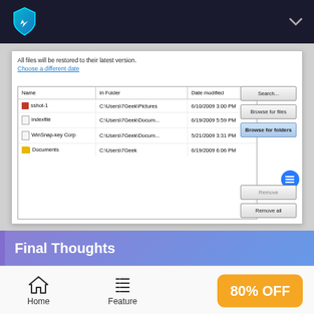[Figure (screenshot): Top navigation bar with shield/rocket logo on dark background and chevron on right]
[Figure (screenshot): Windows file restore dialog showing a list of files (sshot-1, indexfile, WinSnap-key Corp, Documents) with columns Name, In Folder, Date modified, and buttons Search, Browse for files, Browse for folders (active), Remove, Remove all]
Final Thoughts
[Figure (infographic): Bottom navigation bar with Home icon, Feature icon, and 80% OFF button in orange]